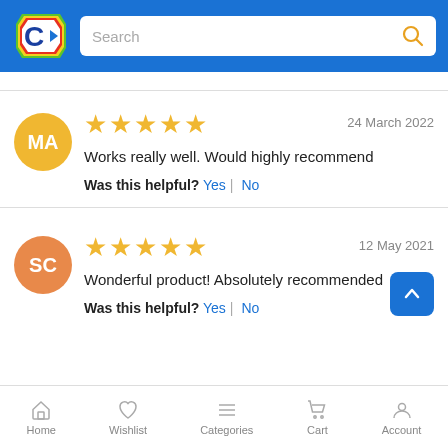[Figure (screenshot): Catch.com.au logo – white polygon shape with blue C and arrow, on blue header background]
Search
24 March 2022
Works really well. Would highly recommend
Was this helpful? Yes | No
12 May 2021
Wonderful product! Absolutely recommended
Was this helpful? Yes | No
Home  Wishlist  Categories  Cart  Account